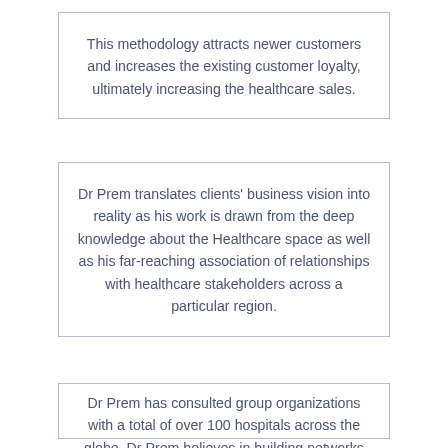This methodology attracts newer customers and increases the existing customer loyalty, ultimately increasing the healthcare sales.
Dr Prem translates clients' business vision into reality as his work is drawn from the deep knowledge about the Healthcare space as well as his far-reaching association of relationships with healthcare stakeholders across a particular region.
Dr Prem has consulted group organizations with a total of over 100 hospitals across the globe. Dr Prem believes in building networks which is ever important to establish the right linkages which are effectual and individualized.